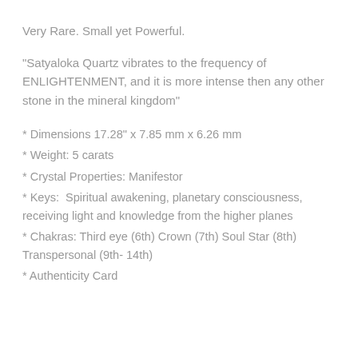Very Rare. Small yet Powerful.
"Satyaloka Quartz vibrates to the frequency of ENLIGHTENMENT, and it is more intense then any other stone in the mineral kingdom"
* Dimensions 17.28" x 7.85 mm x 6.26 mm
* Weight: 5 carats
* Crystal Properties: Manifestor
* Keys:  Spiritual awakening, planetary consciousness, receiving light and knowledge from the higher planes
* Chakras: Third eye (6th) Crown (7th) Soul Star (8th) Transpersonal (9th- 14th)
* Authenticity Card